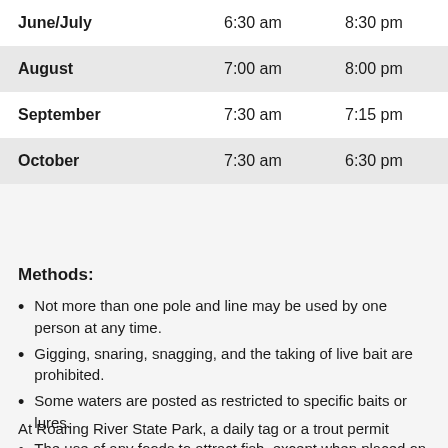| Month | Open | Close |
| --- | --- | --- |
| June/July | 6:30 am | 8:30 pm |
| August | 7:00 am | 8:00 pm |
| September | 7:30 am | 7:15 pm |
| October | 7:30 am | 6:30 pm |
Methods:
Not more than one pole and line may be used by one person at any time.
Gigging, snaring, snagging, and the taking of live bait are prohibited.
Some waters are posted as restricted to specific baits or lures.
The use of any foods to attract fish, except when placed on a hook, is prohibited.
At Roaring River State Park, a daily tag or a trout permit